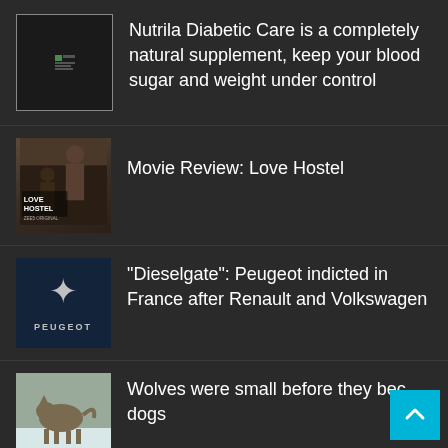Nutrila Diabetic Care is a completely natural supplement, keep your blood sugar and weight under control
Movie Review: Love Hostel
“Dieselgate”: Peugeot indicted in France after Renault and Volkswagen
Wolves were small before they became dogs